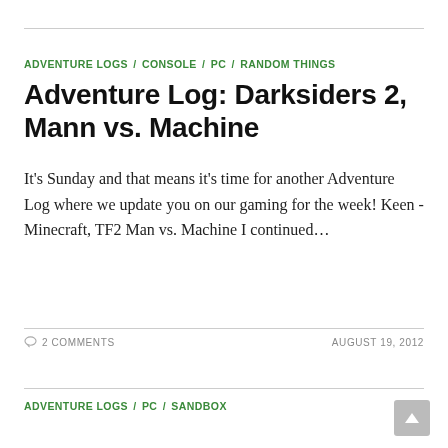ADVENTURE LOGS / CONSOLE / PC / RANDOM THINGS
Adventure Log: Darksiders 2, Mann vs. Machine
It's Sunday and that means it's time for another Adventure Log where we update you on our gaming for the week! Keen - Minecraft, TF2 Man vs. Machine I continued…
2 COMMENTS    AUGUST 19, 2012
ADVENTURE LOGS / PC / SANDBOX